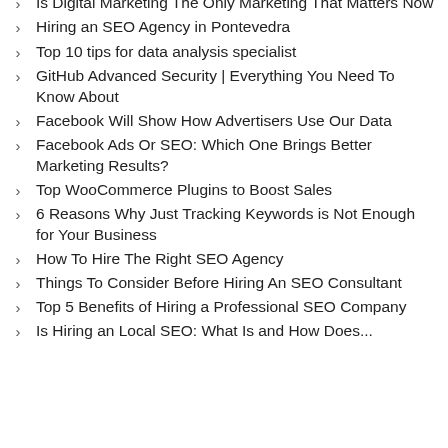Is Digital Marketing The Only Marketing That Matters Now
Hiring an SEO Agency in Pontevedra
Top 10 tips for data analysis specialist
GitHub Advanced Security | Everything You Need To Know About
Facebook Will Show How Advertisers Use Our Data
Facebook Ads Or SEO: Which One Brings Better Marketing Results?
Top WooCommerce Plugins to Boost Sales
6 Reasons Why Just Tracking Keywords is Not Enough for Your Business
How To Hire The Right SEO Agency
Things To Consider Before Hiring An SEO Consultant
Top 5 Benefits of Hiring a Professional SEO Company
Is Hiring an Local SEO: What Is and How Does...